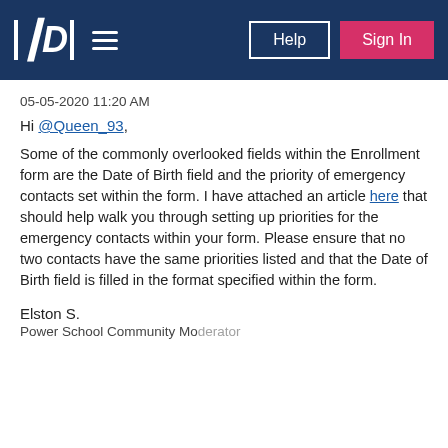P  ≡  Help  Sign In
05-05-2020 11:20 AM
Hi @Queen_93,
Some of the commonly overlooked fields within the Enrollment form are the Date of Birth field and the priority of emergency contacts set within the form. I have attached an article here that should help walk you through setting up priorities for the emergency contacts within your form. Please ensure that no two contacts have the same priorities listed and that the Date of Birth field is filled in the format specified within the form.
Elston S.
Power School Community Moderator